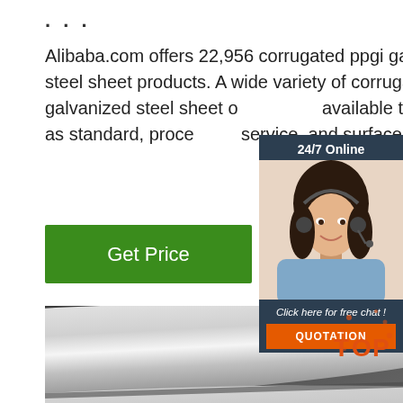...
Alibaba.com offers 22,956 corrugated ppgi galvanized steel sheet products. A wide variety of corrugated ppgi galvanized steel sheet options are available to you, such as standard, processing service, and surface treatment.
[Figure (other): Green 'Get Price' button]
[Figure (photo): 24/7 Online chat widget with a woman wearing a headset, 'Click here for free chat!' text, and an orange QUOTATION button]
[Figure (photo): Photo of galvanized steel round rods/bars arranged diagonally on a surface]